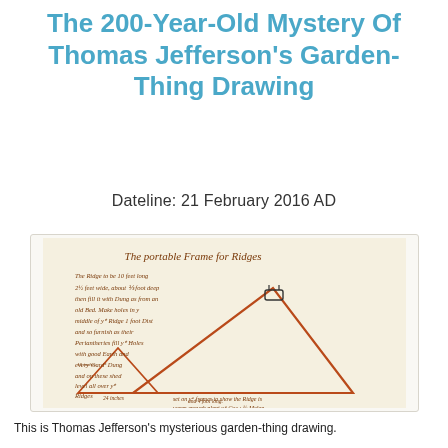The 200-Year-Old Mystery Of Thomas Jefferson's Garden-Thing Drawing
Dateline: 21 February 2016 AD
[Figure (photo): A historical handwritten document by Thomas Jefferson titled 'The portable Frame for Ridges', with cursive writing and a drawing of triangular frame structures (ridges), showing two triangles — one large and one small — with handwritten notes describing dimensions and planting instructions.]
This is Thomas Jefferson's mysterious garden-thing drawing.